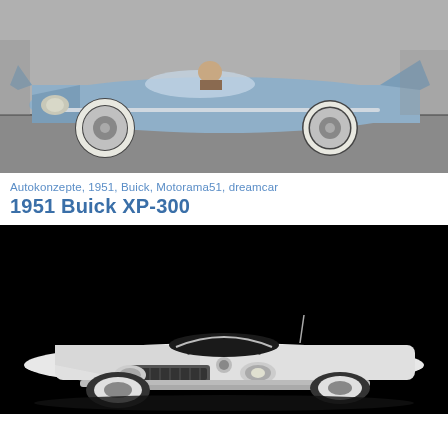[Figure (photo): Black and white / color photo of a low-slung 1951 Buick concept car (Le Sabre / XP-300 era) in blue-grey metallic finish, with a person visible in the open cockpit, photographed outdoors on a road]
Autokonzepte, 1951, Buick, Motorama51, dreamcar
1951 Buick XP-300
[Figure (photo): Black and white studio photo of a white 1951 Buick XP-300 concept car, front three-quarter view against a pure black background]